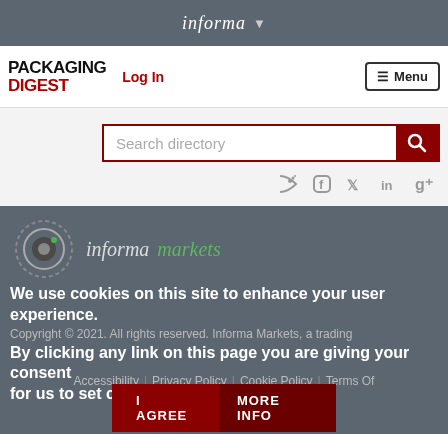informa ▾
[Figure (logo): Packaging Digest logo with black bold PACKAGING text and red bold DIGEST text]
Log In
≡ Menu
Search directory
[Figure (infographic): Social media icons: RSS feed, Facebook, Twitter, LinkedIn, Google+]
[Figure (logo): Informa Markets circular logo with informa in white italic and markets in green italic]
We use cookies on this site to enhance your user experience.
Copyright © 2021. All rights reserved. Informa Markets, a trading
By clicking any link on this page you are giving your consent for us to set cookies.
Accessibility | Privacy Policy | Cookie Policy | Terms Of Use | Visitor Terms And Conditions
I AGREE
MORE INFO